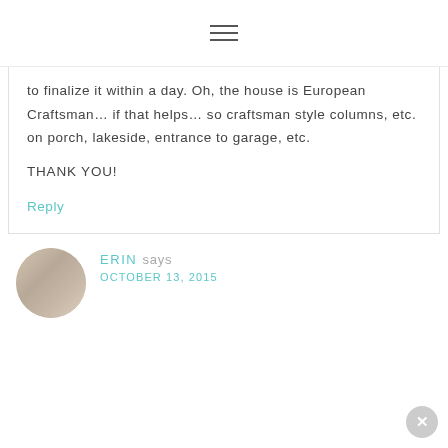≡
to finalize it within a day. Oh, the house is European Craftsman… if that helps… so craftsman style columns, etc. on porch, lakeside, entrance to garage, etc.
THANK YOU!
Reply
ERIN says OCTOBER 13, 2015